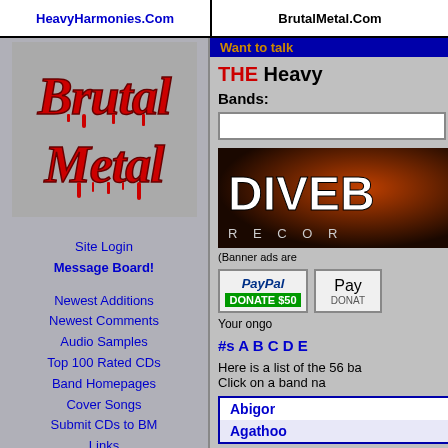HeavyHarmonies.Com | BrutalMetal.Com
[Figure (logo): Brutal Metal logo in gothic dripping red text]
Site Login
Message Board!
Newest Additions
Newest Comments
Audio Samples
Top 100 Rated CDs
Band Homepages
Cover Songs
Submit CDs to BM
Links
About the Site
Site Contributors
| View Bands by Genre: |
| --- |
| Classic Metal (491) |
| Christian Metal (38) |
| NWOBHM (55) |
| Power Metal (307) |
Want to talk
THE Heavy
Bands:
[Figure (screenshot): DIVEB RECOR banner image with dark background and glowing text]
(Banner ads are
[Figure (other): PayPal DONATE $50 button]
[Figure (other): PayPal DONAT button (partially visible)]
Your ongo
#s A B C D E
Here is a list of the 56 ba Click on a band na
|  |
| --- |
| Abigor |
| Agathoo |